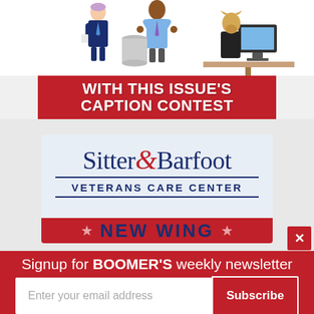[Figure (illustration): Cartoon illustration of three office characters: a woman in blue suit holding coffee, a man in blue shirt with hands raised, and a figure with an animal head sitting at a computer desk]
WITH THIS ISSUE'S CAPTION CONTEST
[Figure (logo): Sitter & Barfoot Veterans Care Center logo with blue serif text and red ampersand]
NEW WING
Signup for BOOMER'S weekly newsletter
Enter your email address
Subscribe